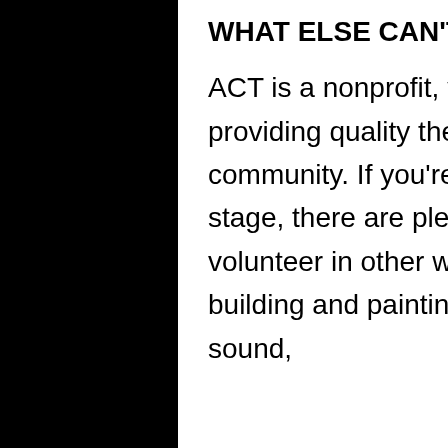WHAT ELSE CAN'T DO?
ACT is a nonprofit, volunteer organization providing quality theatre and entertainment for our community. If you're not interested in being on stage, there are plenty of opportunities to volunteer in other ways, such as backstage crew, building and painting sets, costumes, props, lights, sound,